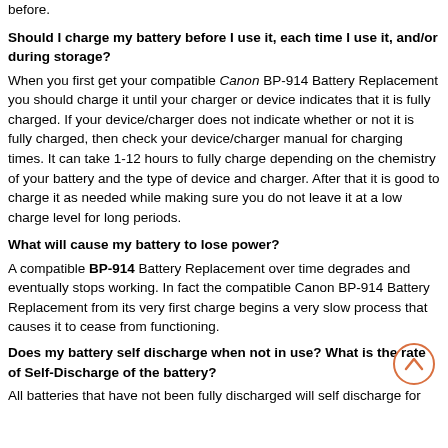before.
Should I charge my battery before I use it, each time I use it, and/or during storage?
When you first get your compatible Canon BP-914 Battery Replacement you should charge it until your charger or device indicates that it is fully charged. If your device/charger does not indicate whether or not it is fully charged, then check your device/charger manual for charging times. It can take 1-12 hours to fully charge depending on the chemistry of your battery and the type of device and charger. After that it is good to charge it as needed while making sure you do not leave it at a low charge level for long periods.
What will cause my battery to lose power?
A compatible BP-914 Battery Replacement over time degrades and eventually stops working. In fact the compatible Canon BP-914 Battery Replacement from its very first charge begins a very slow process that causes it to cease from functioning.
Does my battery self discharge when not in use? What is the rate of Self-Discharge of the battery?
All batteries that have not been fully discharged will self discharge over a period of time.